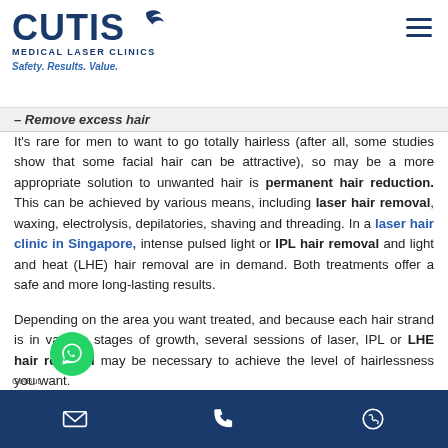CUTIS MEDICAL LASER CLINICS — Safety. Results. Value.
Remove excess hair
It's rare for men to want to go totally hairless (after all, some studies show that some facial hair can be attractive), so may be a more appropriate solution to unwanted hair is permanent hair reduction. This can be achieved by various means, including laser hair removal, waxing, electrolysis, depilatories, shaving and threading. In a laser hair clinic in Singapore, intense pulsed light or IPL hair removal and light and heat (LHE) hair removal are in demand. Both treatments offer a safe and more long-lasting results.
Depending on the area you want treated, and because each hair strand is in various stages of growth, several sessions of laser, IPL or LHE hair removal may be necessary to achieve the level of hairlessness you want.
GetButton | Email | Phone | WhatsApp